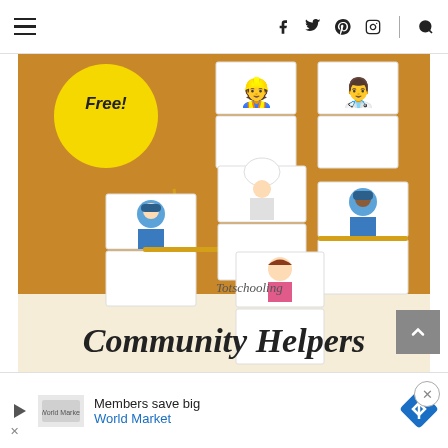Navigation bar with hamburger menu and social icons (Facebook, Twitter, Pinterest, Instagram, Search)
[Figure (illustration): Community Helpers Puzzles educational activity image on golden/mustard background showing cartoon puzzle cards of community helpers (mailman, chef, police officer, teacher). Yellow circle with 'Free!' text. 'Totschooling' branding and 'Community Helpers' in decorative script at the bottom.]
COMMUNITY HELPERS PUZZLES
[Figure (screenshot): Advertisement bar at the bottom: World Market 'Members save big' ad with blue arrow diamond icon and close button.]